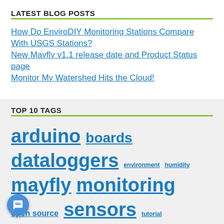LATEST BLOG POSTS
How Do EnviroDIY Monitoring Stations Compare With USGS Stations?
New Mayfly v1.1 release date and Product Status page
Monitor My Watershed Hits the Cloud!
TOP 10 TAGS
arduino  boards  dataloggers  environment  humidity  mayfly  monitoring  open source  sensors  tutorial